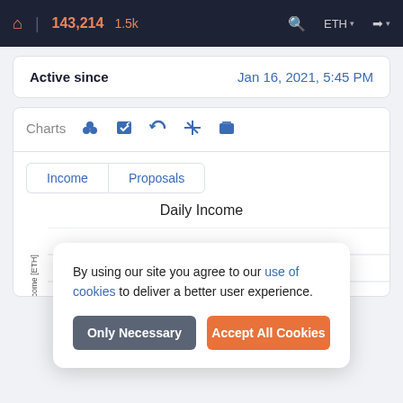143,214  1.5k  ETH
| Active since |  |
| --- | --- |
| Active since | Jan 16, 2021, 5:45 PM |
Charts  Income  Proposals  Daily Income
By using our site you agree to our use of cookies to deliver a better user experience.
Only Necessary  Accept All Cookies